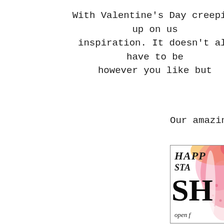With Valentine's Day creeping up on us inspiration. It doesn't all have to be however you like but
Our amazing sp
[Figure (illustration): A card/flyer with watercolor pink and orange background, text reading 'HaPP STa SH open f' - appears to be a Valentine's Day stamp or shop card partially visible]